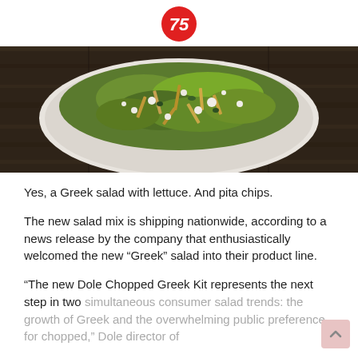75 (logo)
[Figure (photo): Overhead close-up photo of a Greek chopped salad in a white bowl on a dark wooden table surface. The salad contains chopped romaine lettuce, pita chips, feta cheese crumbles, and other toppings.]
Yes, a Greek salad with lettuce. And pita chips.
The new salad mix is shipping nationwide, according to a news release by the company that enthusiastically welcomed the new “Greek” salad into their product line.
“The new Dole Chopped Greek Kit represents the next step in two simultaneous consumer salad trends: the growth of Greek and the overwhelming public preference for chopped,” Dole director of